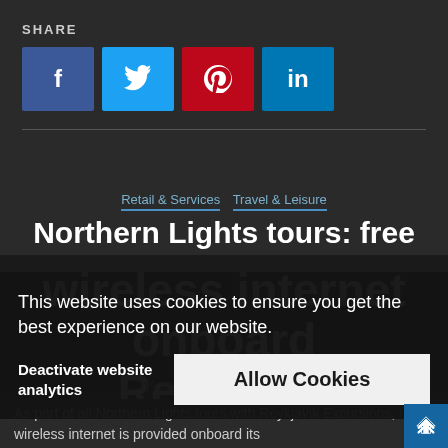SHARE
[Figure (infographic): Social share buttons: Facebook (blue), Twitter (light blue), Pinterest (red), LinkedIn (blue)]
Retail & Services   Travel & Leisure
Northern Lights tours: free wireless internet onboard Reykjavik Excursions' coaches
This website uses cookies to ensure you get the best experience on our website.
Deactivate website analytics
Allow Cookies
15 January, 2018   3 min read
As part of all Northern Lights tours with Reykjavik Excursions, free wireless internet is provided onboard its